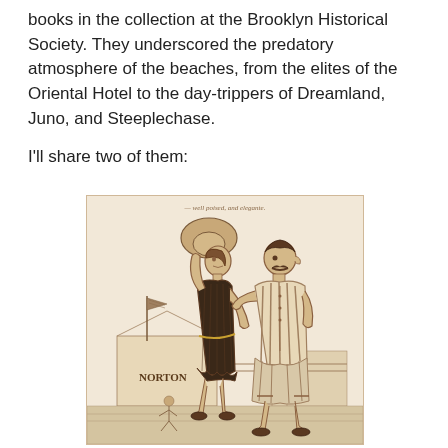books in the collection at the Brooklyn Historical Society. They underscored the predatory atmosphere of the beaches, from the elites of the Oriental Hotel to the day-trippers of Dreamland, Juno, and Steeplechase.
I'll share two of them:
[Figure (illustration): Sepia-toned vintage illustration showing a man and woman in old-fashioned bathing attire at a beach. The woman wears a dark bathing dress and large hat, the man wears a striped bathing suit. In the background is a building labeled 'NORTON' with a flag, and smaller figures playing on the beach.]